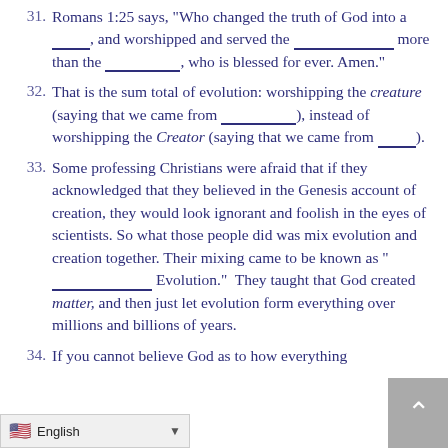31. Romans 1:25 says, "Who changed the truth of God into a _____, and worshipped and served the _____________ more than the ____________, who is blessed for ever. Amen."
32. That is the sum total of evolution: worshipping the creature (saying that we came from ____________), instead of worshipping the Creator (saying that we came from _____ ).
33. Some professing Christians were afraid that if they acknowledged that they believed in the Genesis account of creation, they would look ignorant and foolish in the eyes of scientists. So what those people did was mix evolution and creation together. Their mixing came to be known as "____________ Evolution." They taught that God created matter, and then just let evolution form everything over millions and billions of years.
34. If you cannot believe God as to how everything ... then how can you believe...